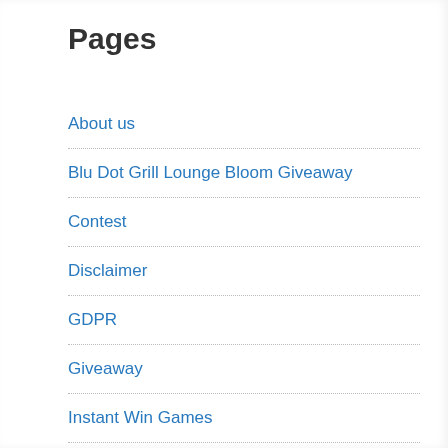Pages
About us
Blu Dot Grill Lounge Bloom Giveaway
Contest
Disclaimer
GDPR
Giveaway
Instant Win Games
Monopoly Sweepstakes